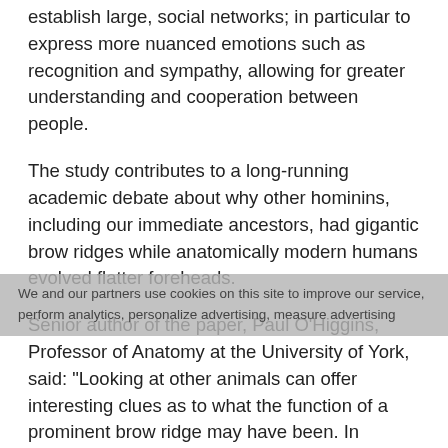establish large, social networks; in particular to express more nuanced emotions such as recognition and sympathy, allowing for greater understanding and cooperation between people.
The study contributes to a long-running academic debate about why other hominins, including our immediate ancestors, had gigantic brow ridges while anatomically modern humans evolved flatter foreheads.
Senior author of the paper, Paul O’Higgins, Professor of Anatomy at the University of York, said: “Looking at other animals can offer interesting clues as to what the function of a prominent brow ridge may have been. In mandrills, dominant males have brightly coloured swellings on either side of their muzzles to display their status. The growth of these lumps is triggered by hormonal factors and the bones underlying them are pitted with microscopic craters – a feature that can also
We and our partners use cookies on this site to improve our service, perform analytics, personalize advertising, measure advertising